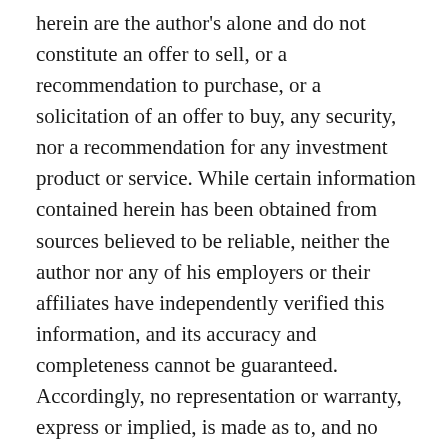herein are the author's alone and do not constitute an offer to sell, or a recommendation to purchase, or a solicitation of an offer to buy, any security, nor a recommendation for any investment product or service. While certain information contained herein has been obtained from sources believed to be reliable, neither the author nor any of his employers or their affiliates have independently verified this information, and its accuracy and completeness cannot be guaranteed. Accordingly, no representation or warranty, express or implied, is made as to, and no reliance should be placed on, the fairness, accuracy, timeliness or completeness of this information. The author and all employers and their affiliated persons assume no liability for this information and no obligation to update the information or analysis contained herein in the future.